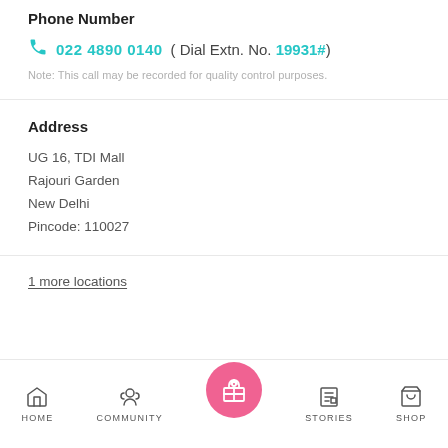Phone Number
022 4890 0140 ( Dial Extn. No. 19931#)
Note: This call may be recorded for quality control purposes.
Address
UG 16, TDI Mall
Rajouri Garden
New Delhi
Pincode: 110027
1 more locations
HOME  COMMUNITY  STORIES  SHOP